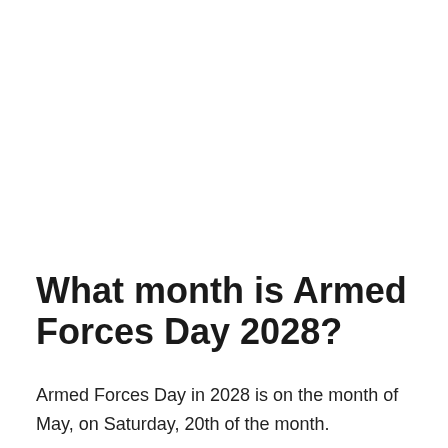What month is Armed Forces Day 2028?
Armed Forces Day in 2028 is on the month of May, on Saturday, 20th of the month.